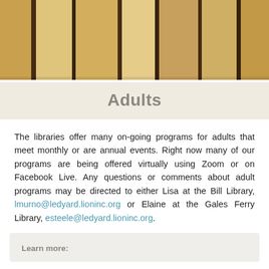[Figure (photo): Close-up photo of book spines lined up on a shelf, showing warm tan, beige, and brown tones with dark gaps between books.]
Adults
The libraries offer many on-going programs for adults that meet monthly or are annual events. Right now many of our programs are being offered virtually using Zoom or on Facebook Live. Any questions or comments about adult programs may be directed to either Lisa at the Bill Library, lmurno@ledyard.lioninc.org or Elaine at the Gales Ferry Library, esteele@ledyard.lioninc.org.
Learn more: